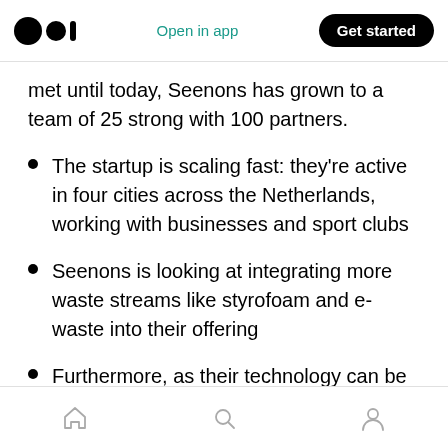Medium app header — Open in app | Get started
met until today, Seenons has grown to a team of 25 strong with 100 partners.
The startup is scaling fast: they're active in four cities across the Netherlands, working with businesses and sport clubs
Seenons is looking at integrating more waste streams like styrofoam and e-waste into their offering
Furthermore, as their technology can be applied across the waste management sector,
Bottom navigation: Home | Search | Profile